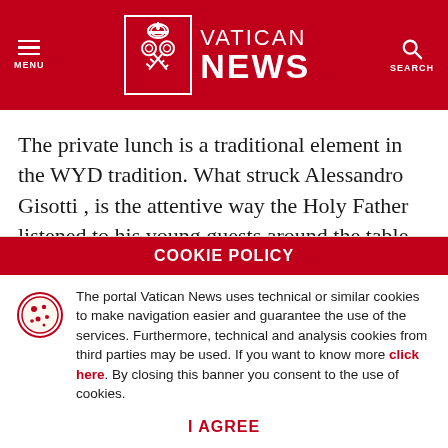Vatican News — MENU / SEARCH header
The private lunch is a traditional element in the WYD tradition. What struck Alessandro Gisotti , is the attentive way the Holy Father listened to his young guests around the table, even trying to speak to them in English and French, and making sure
COOKIE POLICY
The portal Vatican News uses technical or similar cookies to make navigation easier and guarantee the use of the services. Furthermore, technical and analysis cookies from third parties may be used. If you want to know more click here. By closing this banner you consent to the use of cookies.
I AGREE